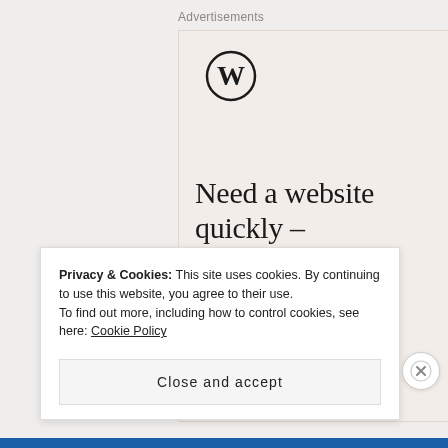Advertisements
[Figure (logo): WordPress circular logo (W in a circle)]
Need a website quickly – and on a budget?
Let us build it for you
Privacy & Cookies: This site uses cookies. By continuing to use this website, you agree to their use.
To find out more, including how to control cookies, see here: Cookie Policy
Close and accept